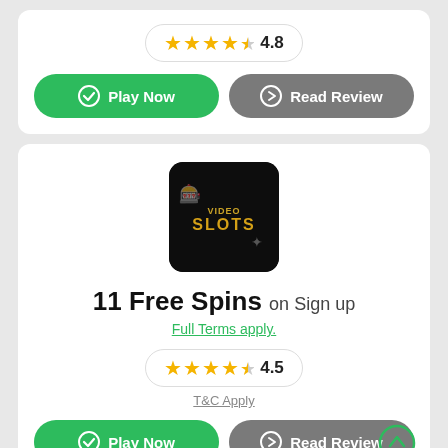[Figure (other): Rating pill showing 4.8 stars (4 full + 1 half star) with number 4.8]
[Figure (other): Play Now (green) and Read Review (gray) buttons, top card]
[Figure (logo): VideoSlots casino logo - black background with gold text]
11 Free Spins on Sign up
Full Terms apply.
[Figure (other): Rating pill showing 4.5 stars with number 4.5]
T&C Apply
[Figure (other): Play Now (green) and Read Review (gray) buttons, bottom card]